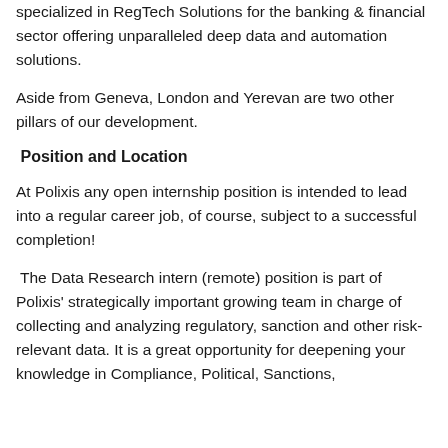specialized in RegTech Solutions for the banking & financial sector offering unparalleled deep data and automation solutions.
Aside from Geneva, London and Yerevan are two other pillars of our development.
Position and Location
At Polixis any open internship position is intended to lead into a regular career job, of course, subject to a successful completion!
The Data Research intern (remote) position is part of Polixis' strategically important growing team in charge of collecting and analyzing regulatory, sanction and other risk-relevant data. It is a great opportunity for deepening your knowledge in Compliance, Political, Sanctions,